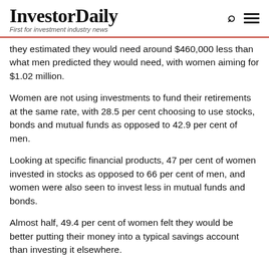InvestorDaily — First for investment industry news
they estimated they would need around $460,000 less than what men predicted they would need, with women aiming for $1.02 million.
Women are not using investments to fund their retirements at the same rate, with 28.5 per cent choosing to use stocks, bonds and mutual funds as opposed to 42.9 per cent of men.
Looking at specific financial products, 47 per cent of women invested in stocks as opposed to 66 per cent of men, and women were also seen to invest less in mutual funds and bonds.
Almost half, 49.4 per cent of women felt they would be better putting their money into a typical savings account than investing it elsewhere.